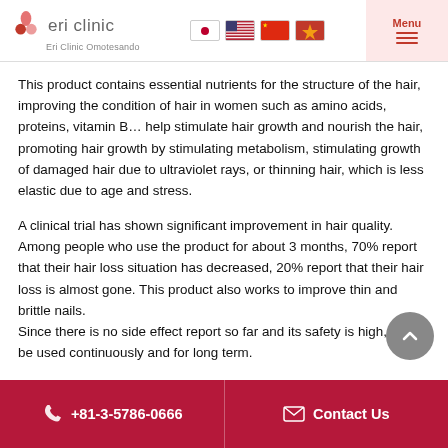Eri Clinic Omotesando
This product contains essential nutrients for the structure of the hair, improving the condition of hair in women such as amino acids, proteins, vitamin B… help stimulate hair growth and nourish the hair, promoting hair growth by stimulating metabolism, stimulating growth of damaged hair due to ultraviolet rays, or thinning hair, which is less elastic due to age and stress.
A clinical trial has shown significant improvement in hair quality. Among people who use the product for about 3 months, 70% report that their hair loss situation has decreased, 20% report that their hair loss is almost gone. This product also works to improve thin and brittle nails. Since there is no side effect report so far and its safety is high, it can be used continuously and for long term.
+81-3-5786-0666    Contact Us